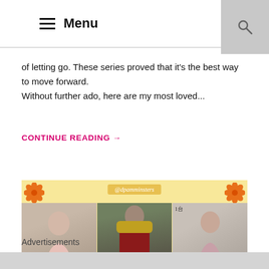Menu
of letting go. These series proved that it's the best way to move forward.
Without further ado, here are my most loved...
CONTINUE READING →
[Figure (photo): Promotional collage image with yellow background showing three Korean drama stills: an older woman in pink, a man in royal costume, and a woman in pink blouse. Username label '@dpamminsters' shown at top center with decorative flower motifs in corners.]
Advertisements